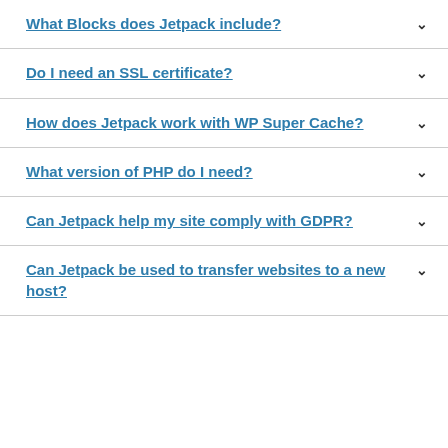What Blocks does Jetpack include?
Do I need an SSL certificate?
How does Jetpack work with WP Super Cache?
What version of PHP do I need?
Can Jetpack help my site comply with GDPR?
Can Jetpack be used to transfer websites to a new host?